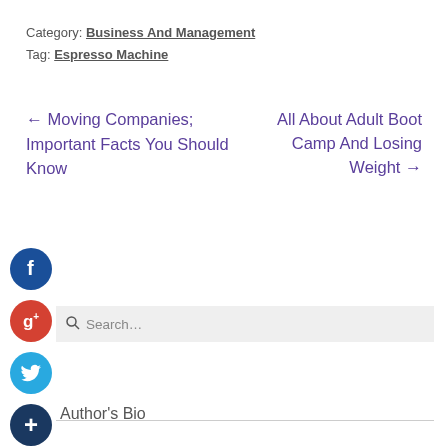Category: Business And Management
Tag: Espresso Machine
← Moving Companies; Important Facts You Should Know
All About Adult Boot Camp And Losing Weight →
[Figure (other): Facebook social share icon (dark blue circle with white 'f')]
[Figure (other): Google+ social share icon (red circle with white 'g+')]
[Figure (other): Twitter social share icon (light blue circle with white bird)]
[Figure (other): Plus/More social share icon (dark blue circle with white '+')]
Search…
Author's Bio